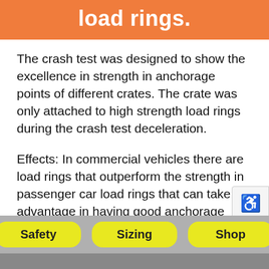load rings.
The crash test was designed to show the excellence in strength in anchorage points of different crates. The crate was only attached to high strength load rings during the crash test deceleration.
Effects: In commercial vehicles there are load rings that outperform the strength in passenger car load rings that can take advantage in having good anchorage points on a crate. But the risk of giving consumers the feeling of being safe using load rings in
Safety   Sizing   Shop